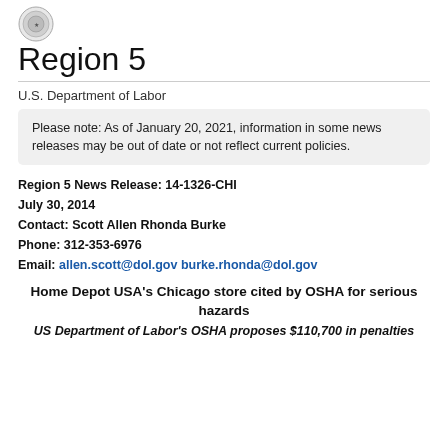[Figure (logo): U.S. Department of Labor seal/emblem circular logo]
Region 5
U.S. Department of Labor
Please note: As of January 20, 2021, information in some news releases may be out of date or not reflect current policies.
Region 5 News Release: 14-1326-CHI
July 30, 2014
Contact: Scott Allen Rhonda Burke
Phone: 312-353-6976
Email: allen.scott@dol.gov burke.rhonda@dol.gov
Home Depot USA's Chicago store cited by OSHA for serious hazards
US Department of Labor's OSHA proposes $110,700 in penalties